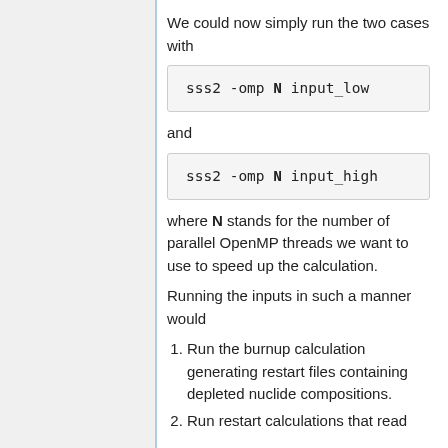We could now simply run the two cases with
sss2 -omp N input_low
and
sss2 -omp N input_high
where N stands for the number of parallel OpenMP threads we want to use to speed up the calculation.
Running the inputs in such a manner would
Run the burnup calculation generating restart files containing depleted nuclide compositions.
Run restart calculations that read